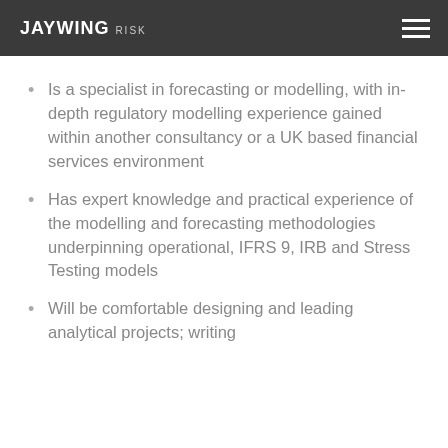JAYWING RISK
Is a specialist in forecasting or modelling, with in-depth regulatory modelling experience gained within another consultancy or a UK based financial services environment
Has expert knowledge and practical experience of the modelling and forecasting methodologies underpinning operational, IFRS 9, IRB and Stress Testing models
Will be comfortable designing and leading analytical projects; writing